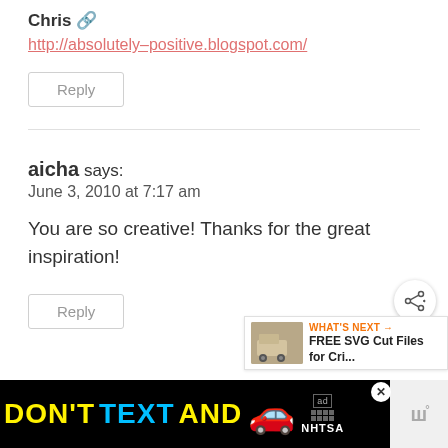Chris 🔗
http://absolutely–positive.blogspot.com/
Reply
aicha says:
June 3, 2010 at 7:17 am
You are so creative! Thanks for the great inspiration!
Reply
[Figure (screenshot): Advertisement banner: DON'T TEXT AND [car emoji] with ad choice icon and NHTSA logo; to the right a partial UI showing share icon and WHAT'S NEXT → FREE SVG Cut Files for Cri... widget]